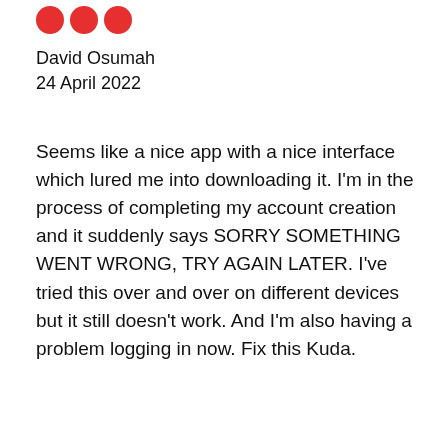[Figure (other): Three red circles/icons partially visible at top]
David Osumah
24 April 2022
Seems like a nice app with a nice interface which lured me into downloading it. I'm in the process of completing my account creation and it suddenly says SORRY SOMETHING WENT WRONG, TRY AGAIN LATER. I've tried this over and over on different devices but it still doesn't work. And I'm also having a problem logging in now. Fix this Kuda.